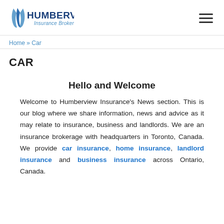[Figure (logo): Humberview Insurance Brokers LTD. logo with blue swoosh icon and blue text]
Home » Car
CAR
Hello and Welcome
Welcome to Humberview Insurance's News section. This is our blog where we share information, news and advice as it may relate to insurance, business and landlords. We are an insurance brokerage with headquarters in Toronto, Canada. We provide car insurance, home insurance, landlord insurance and business insurance across Ontario, Canada.